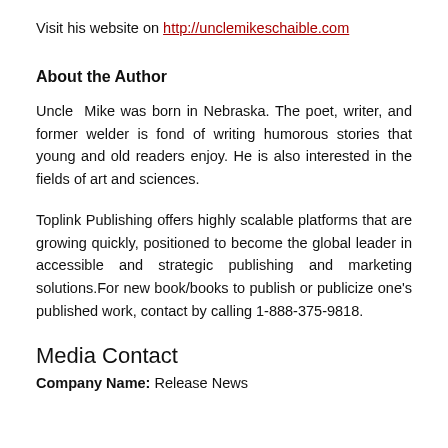Visit his website on http://unclemikeschaible.com
About the Author
Uncle Mike was born in Nebraska. The poet, writer, and former welder is fond of writing humorous stories that young and old readers enjoy. He is also interested in the fields of art and sciences.
Toplink Publishing offers highly scalable platforms that are growing quickly, positioned to become the global leader in accessible and strategic publishing and marketing solutions.For new book/books to publish or publicize one's published work, contact by calling 1-888-375-9818.
Media Contact
Company Name: Release News